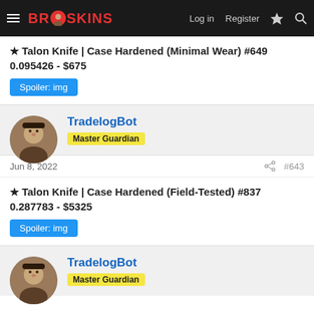BR SKINS | Log in | Register
★ Talon Knife | Case Hardened (Minimal Wear) #649 0.095426 - $675
Spoiler: img
TradelogBot
Master Guardian
Jun 8, 2022  #643
★ Talon Knife | Case Hardened (Field-Tested) #837 0.287783 - $5325
Spoiler: img
TradelogBot
Master Guardian